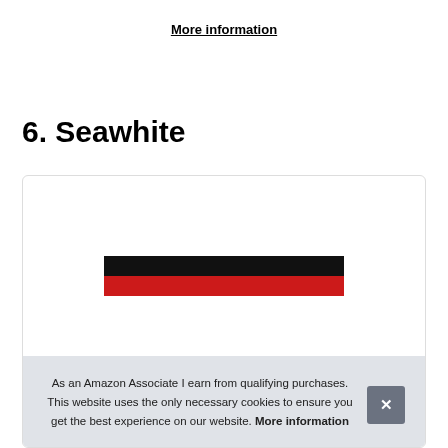More information
6. Seawhite
[Figure (screenshot): A card/box with a product image showing black and red horizontal bars, partially obscured by a cookie consent banner.]
As an Amazon Associate I earn from qualifying purchases. This website uses the only necessary cookies to ensure you get the best experience on our website. More information